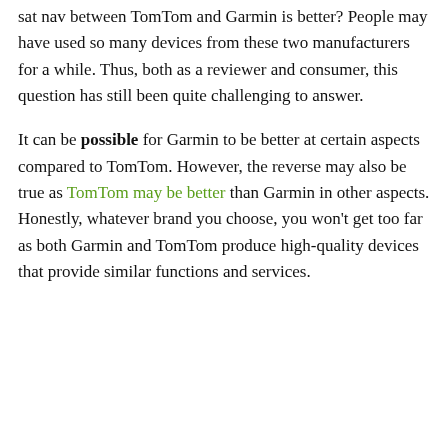sat nav between TomTom and Garmin is better? People may have used so many devices from these two manufacturers for a while. Thus, both as a reviewer and consumer, this question has still been quite challenging to answer.
It can be possible for Garmin to be better at certain aspects compared to TomTom. However, the reverse may also be true as TomTom may be better than Garmin in other aspects. Honestly, whatever brand you choose, you won't get too far as both Garmin and TomTom produce high-quality devices that provide similar functions and services.